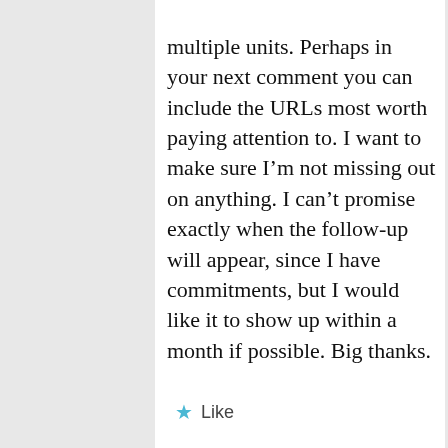multiple units. Perhaps in your next comment you can include the URLs most worth paying attention to. I want to make sure I’m not missing out on anything. I can’t promise exactly when the follow-up will appear, since I have commitments, but I would like it to show up within a month if possible. Big thanks.
★ Like